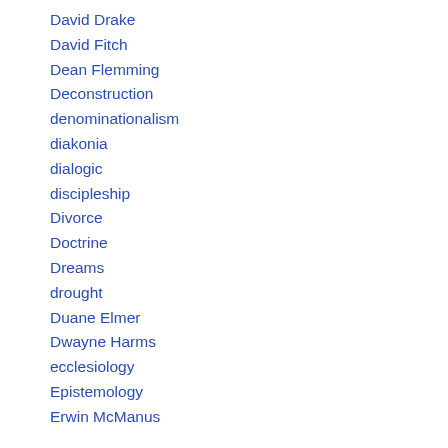David Drake
David Fitch
Dean Flemming
Deconstruction
denominationalism
diakonia
dialogic
discipleship
Divorce
Doctrine
Dreams
drought
Duane Elmer
Dwayne Harms
ecclesiology
Epistemology
Erwin McManus